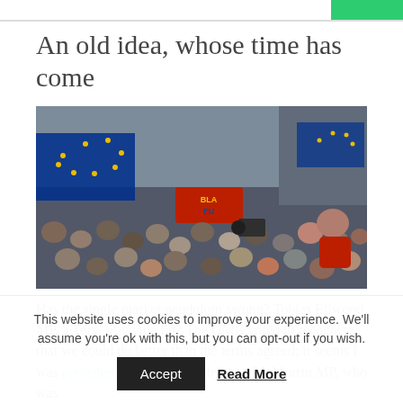An old idea, whose time has come
[Figure (photo): A large crowd of protesters holding EU flags and signs, including a visible red sign reading 'BLAEU'. The crowd is densely packed on a street.]
Has the single market pendulum swung? Tobias Ellwood MP, a Tory, lifted the lid? The GMB voted to recognise that we could do better than the terms agreed; it seems I was preceded (or maybe not) by Ann McMorrin MP, who was
This website uses cookies to improve your experience. We'll assume you're ok with this, but you can opt-out if you wish.
Accept
Read More